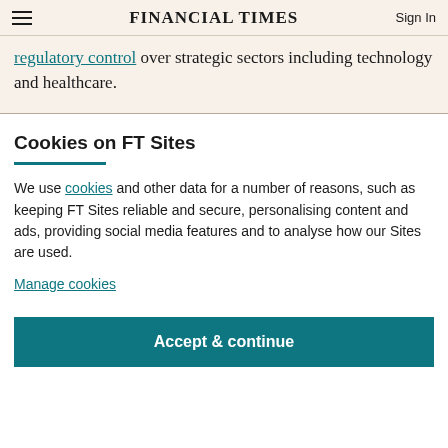FINANCIAL TIMES | Sign In
regulatory control over strategic sectors including technology and healthcare.
Cookies on FT Sites
We use cookies and other data for a number of reasons, such as keeping FT Sites reliable and secure, personalising content and ads, providing social media features and to analyse how our Sites are used.
Manage cookies
Accept & continue